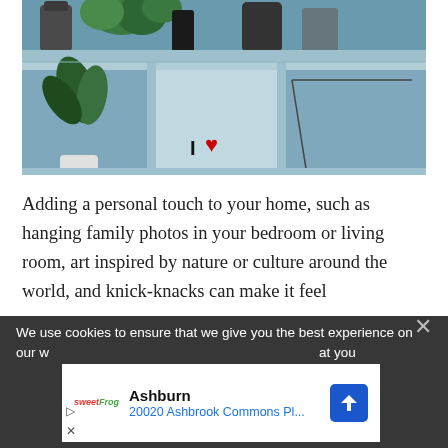[Figure (photo): Photo of a blue-gray wooden shelf unit with plants, dark vases, and a small red heart 'I love' decorative object. Green plants visible on the left shelf compartment and atop the unit.]
Adding a personal touch to your home, such as hanging family photos in your bedroom or living room, art inspired by nature or culture around the world, and knick-knacks can make it feel
We use cookies to ensure that we give you the best experience on our w... at you
[Figure (advertisement): Ad box showing SweetFrog logo, Ashburn location, 20020 Ashbrook Commons Pl..., with navigation arrow icon]